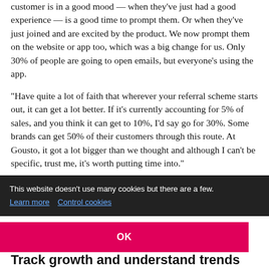customer is in a good mood — when they've just had a good experience — is a good time to prompt them. Or when they've just joined and are excited by the product. We now prompt them on the website or app too, which was a big change for us. Only 30% of people are going to open emails, but everyone's using the app.
“Have quite a lot of faith that wherever your referral scheme starts out, it can get a lot better. If it’s currently accounting for 5% of sales, and you think it can get to 10%, I’d say go for 30%. Some brands can get 50% of their customers through this route. At Gousto, it got a lot bigger than we thought and although I can’t be specific, trust me, it’s worth putting time into.”
This website doesn’t use many cookies but there are a few. Learn more  Control cookies
OK
pany
Track growth and understand trends